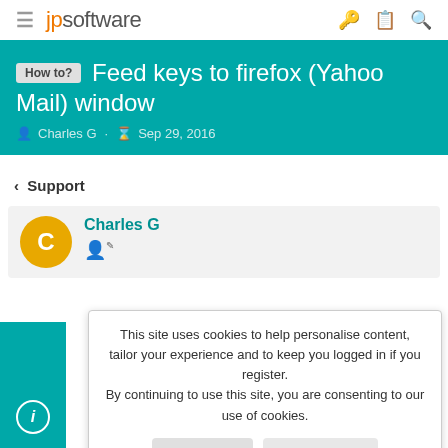jpsoftware
How to? Feed keys to firefox (Yahoo Mail) window
Charles G · Sep 29, 2016
< Support
Charles G
This site uses cookies to help personalise content, tailor your experience and to keep you logged in if you register. By continuing to use this site, you are consenting to our use of cookies.
Accept   Learn more...